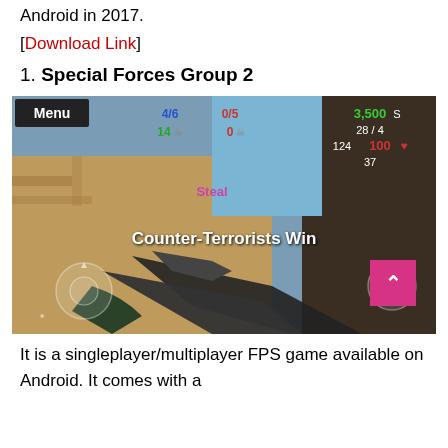Android in 2017.
[Download Link]
1. Special Forces Group 2
[Figure (screenshot): In-game screenshot of Special Forces Group 2, a first-person shooter mobile game showing 'Counter-Terrorists Win' text, player holding assault rifle, game HUD with scores 4/6, 0/5, 14, 0, 3,500 S, 28/4, 124, 100, 37, and Menu button in top left.]
It is a singleplayer/multiplayer FPS game available on Android. It comes with a